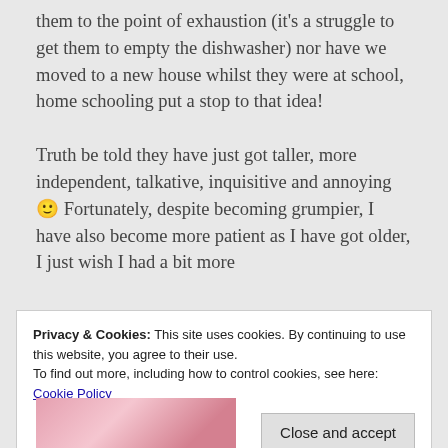them to the point of exhaustion (it's a struggle to get them to empty the dishwasher) nor have we moved to a new house whilst they were at school, home schooling put a stop to that idea! Truth be told they have just got taller, more independent, talkative, inquisitive and annoying 🙂 Fortunately, despite becoming grumpier, I have also become more patient as I have got older, I just wish I had a bit more
Privacy & Cookies: This site uses cookies. By continuing to use this website, you agree to their use. To find out more, including how to control cookies, see here: Cookie Policy
Close and accept
[Figure (photo): Partial image of children or people visible at bottom of page, pink clothing visible]